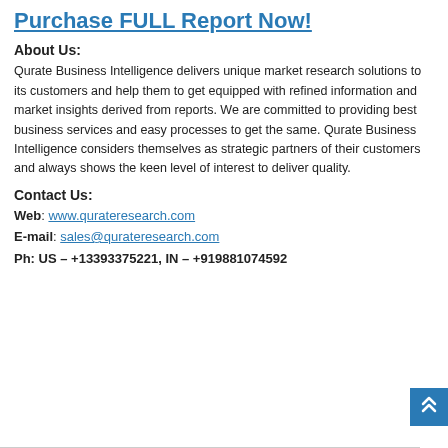Purchase FULL Report Now!
About Us:
Qurate Business Intelligence delivers unique market research solutions to its customers and help them to get equipped with refined information and market insights derived from reports. We are committed to providing best business services and easy processes to get the same. Qurate Business Intelligence considers themselves as strategic partners of their customers and always shows the keen level of interest to deliver quality.
Contact Us:
Web: www.qurateresearch.com
E-mail: sales@qurateresearch.com
Ph: US – +13393375221, IN – +919881074592